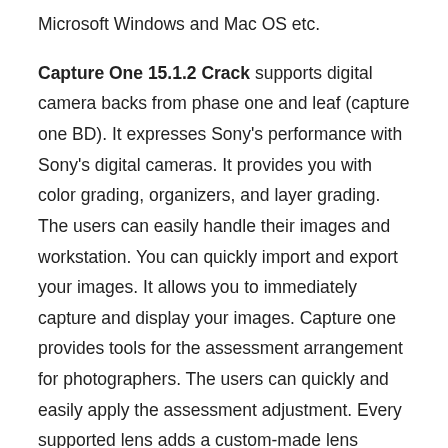Microsoft Windows and Mac OS etc.
Capture One 15.1.2 Crack supports digital camera backs from phase one and leaf (capture one BD). It expresses Sony’s performance with Sony’s digital cameras. It provides you with color grading, organizers, and layer grading. The users can easily handle their images and workstation. You can quickly import and export your images. It allows you to immediately capture and display your images. Capture one provides tools for the assessment arrangement for photographers. The users can quickly and easily apply the assessment adjustment. Every supported lens adds a custom-made lens profile.
Capture One 15.1.2 Crack